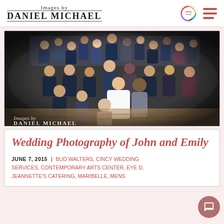Images by DANIEL MICHAEL
[Figure (photo): Wide-angle fisheye group photo of a wedding party and all guests in a reception hall, bride in white dress and groom in gray vest at center, guests waving and cheering, 'DANIEL MICHAEL' watermark at bottom left]
Wedding Photography of John and Emily
JUNE 7, 2015 | BUD WALTERS, CINCY WEDDING SERVICES, CONTEMPORARY ARTS CENTER, EYE D, JEANNETTE'S CATERING, MARIBELLE, MENS